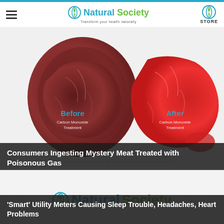Natural Society — Transform your health naturally — STORE
[Figure (photo): Before and after comparison of meat treated with carbon monoxide gas: left side shows darker brownish-red meat (before treatment), right side shows bright red meat (after treatment). Labels 'Before Carbon Monoxide Treatment' and 'After Carbon Monoxide Treatment' are overlaid on the image along with a footnote about sample comparison.]
Consumers Ingesting Mystery Meat Treated with Poisonous Gas
[Figure (logo): Natural Society logo — leaf icon with 'Natural' in teal and 'Society' in green]
'Smart' Utility Meters Causing Sleep Trouble, Headaches, Heart Problems